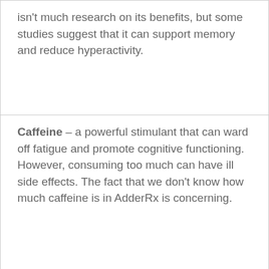isn't much research on its benefits, but some studies suggest that it can support memory and reduce hyperactivity.
Caffeine – a powerful stimulant that can ward off fatigue and promote cognitive functioning. However, consuming too much can have ill side effects. The fact that we don't know how much caffeine is in AdderRx is concerning.
L-theanine – promotes relaxation without causing drowsiness. It helps reduce some of the harmful side effects caffeine can have.
CDP-choline – one of the most effective cognitive enhancers out there. However, you need a dose of around 200 mg for it to be effective.
Beta-phenylethylamine – your body naturally makes plenty of beta-phenylethylamine. You